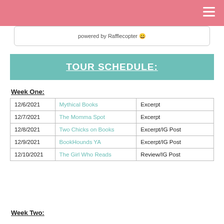powered by Rafflecopter
TOUR SCHEDULE:
Week One:
|  |  |  |
| --- | --- | --- |
| 12/6/2021 | Mythical Books | Excerpt |
| 12/7/2021 | The Momma Spot | Excerpt |
| 12/8/2021 | Two Chicks on Books | Excerpt/IG Post |
| 12/9/2021 | BookHounds YA | Excerpt/IG Post |
| 12/10/2021 | The Girl Who Reads | Review/IG Post |
Week Two: